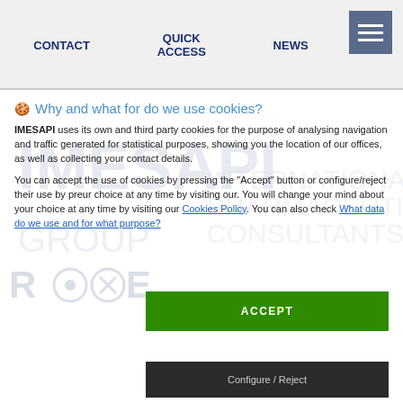CONTACT   QUICK ACCESS   NEWS
🍪 Why and what for do we use cookies?
IMESAPI uses its own and third party cookies for the purpose of analysing navigation and traffic generated for statistical purposes, showing you the location of our offices, as well as collecting your contact details.
You can accept the use of cookies by pressing the "Accept" button or configure/reject their use by preur choice at any time by visiting our. You will change your mind about your choice at any time by visiting our Cookies Policy. You can also check What data do we use and for what purpose?
[Figure (logo): Faint IMESAPI logo watermark in background]
ACCEPT
Configure / Reject